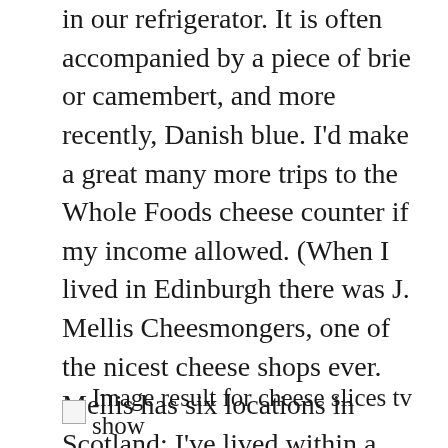in our refrigerator. It is often accompanied by a piece of brie or camembert, and more recently, Danish blue. I'd make a great many more trips to the Whole Foods cheese counter if my income allowed. (When I lived in Edinburgh there was J. Mellis Cheesmongers, one of the nicest cheese shops ever. Mellis has six locations in Scotland; I've lived within a five-minute walk of three of them, at various times. Of the many, many things I miss about Scotland, this is one of them. If Atlanta has anything comparable, I haven't found it yet.) Costco has been, if not a life-saver, at least a great boon in this regard.
[Figure (other): Broken image placeholder with caption text: Image result for cheese slices tv show]